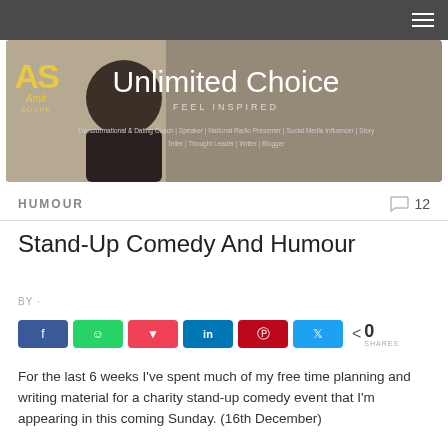Unlimited Choice — FEEL INSPIRED
HUMOUR
Stand-Up Comedy And Humour
BY ·
[Figure (other): Row of social share buttons: Facebook, WhatsApp, Pocket, LinkedIn, Pinterest, Twitter, and a share count showing 0 SHARES]
For the last 6 weeks I've spent much of my free time planning and writing material for a charity stand-up comedy event that I'm appearing in this coming Sunday. (16th December)